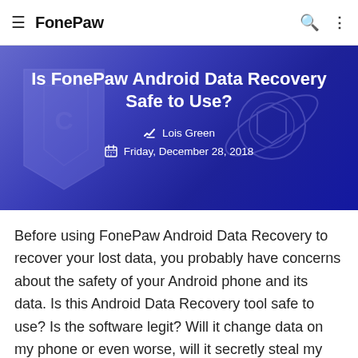FonePaw
Is FonePaw Android Data Recovery Safe to Use?
Lois Green
Friday, December 28, 2018
Before using FonePaw Android Data Recovery to recover your lost data, you probably have concerns about the safety of your Android phone and its data. Is this Android Data Recovery tool safe to use? Is the software legit? Will it change data on my phone or even worse, will it secretly steal my data or give my phone virus?